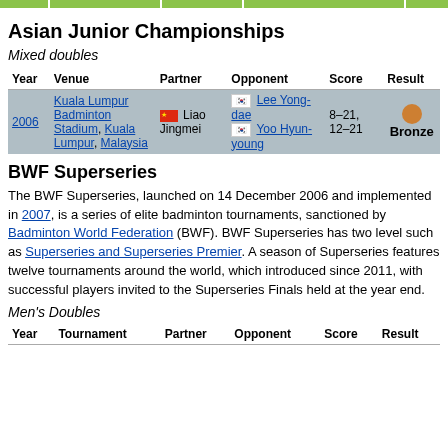Asian Junior Championships
Mixed doubles
| Year | Venue | Partner | Opponent | Score | Result |
| --- | --- | --- | --- | --- | --- |
| 2006 | Kuala Lumpur Badminton Stadium, Kuala Lumpur, Malaysia | [CN flag] Liao Jingmei | [KR flag] Lee Yong-dae [KR flag] Yoo Hyun-young | 8–21, 12–21 | Bronze |
BWF Superseries
The BWF Superseries, launched on 14 December 2006 and implemented in 2007, is a series of elite badminton tournaments, sanctioned by Badminton World Federation (BWF). BWF Superseries has two level such as Superseries and Superseries Premier. A season of Superseries features twelve tournaments around the world, which introduced since 2011, with successful players invited to the Superseries Finals held at the year end.
Men's Doubles
| Year | Tournament | Partner | Opponent | Score | Result |
| --- | --- | --- | --- | --- | --- |